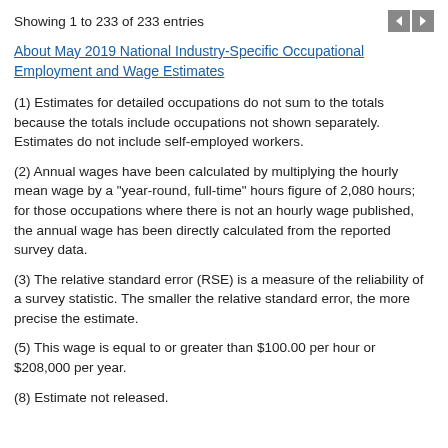Showing 1 to 233 of 233 entries
About May 2019 National Industry-Specific Occupational Employment and Wage Estimates
(1) Estimates for detailed occupations do not sum to the totals because the totals include occupations not shown separately. Estimates do not include self-employed workers.
(2) Annual wages have been calculated by multiplying the hourly mean wage by a "year-round, full-time" hours figure of 2,080 hours; for those occupations where there is not an hourly wage published, the annual wage has been directly calculated from the reported survey data.
(3) The relative standard error (RSE) is a measure of the reliability of a survey statistic. The smaller the relative standard error, the more precise the estimate.
(5) This wage is equal to or greater than $100.00 per hour or $208,000 per year.
(8) Estimate not released.